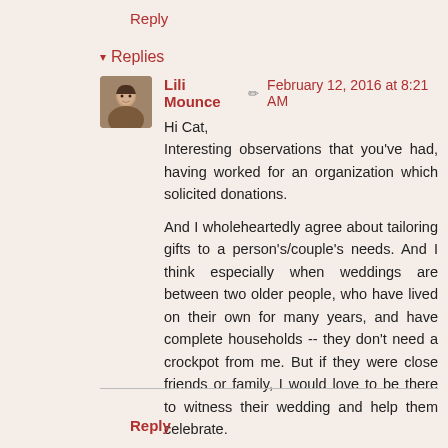Reply
▾ Replies
[Figure (photo): Avatar photo of Lili Mounce, a woman with dark hair]
Lili Mounce ✏ February 12, 2016 at 8:21 AM
Hi Cat,
Interesting observations that you've had, having worked for an organization which solicited donations.

And I wholeheartedly agree about tailoring gifts to a person's/couple's needs. And I think especially when weddings are between two older people, who have lived on their own for many years, and have complete households -- they don't need a crockpot from me. But if they were close friends or family, I would love to be there to witness their wedding and help them celebrate.
Reply